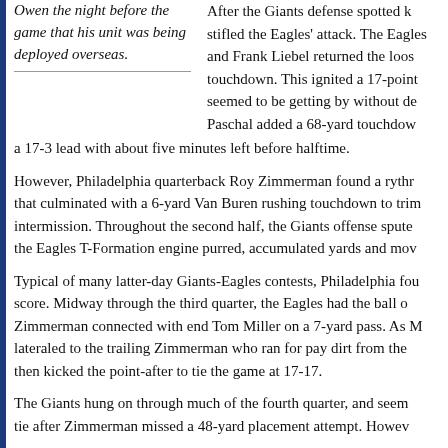Owen the night before the game that his unit was being deployed overseas.
After the Giants defense spotted... stifled the Eagles' attack. The Eagles and Frank Liebel returned the loos... touchdown. This ignited a 17-point seemed to be getting by without de... Paschal added a 68-yard touchdown... a 17-3 lead with about five minutes left before halftime.
However, Philadelphia quarterback Roy Zimmerman found a ryth... that culminated with a 6-yard Van Buren rushing touchdown to tri... intermission. Throughout the second half, the Giants offense spuT... the Eagles T-Formation engine purred, accumulated yards and mov...
Typical of many latter-day Giants-Eagles contests, Philadelphia fou... score. Midway through the third quarter, the Eagles had the ball o... Zimmerman connected with end Tom Miller on a 7-yard pass. As M... lateraled to the trailing Zimmerman who ran for pay dirt from the... then kicked the point-after to tie the game at 17-17.
The Giants hung on through much of the fourth quarter, and seem... tie after Zimmerman missed a 48-yard placement attempt. Howev...